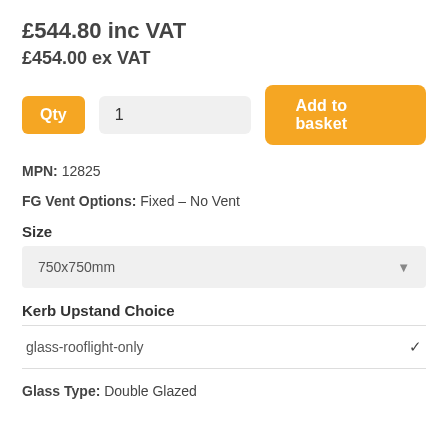£544.80 inc VAT
£454.00 ex VAT
Qty  1   Add to basket
MPN: 12825
FG Vent Options: Fixed – No Vent
Size
750x750mm
Kerb Upstand Choice
glass-rooflight-only
Glass Type: Double Glazed